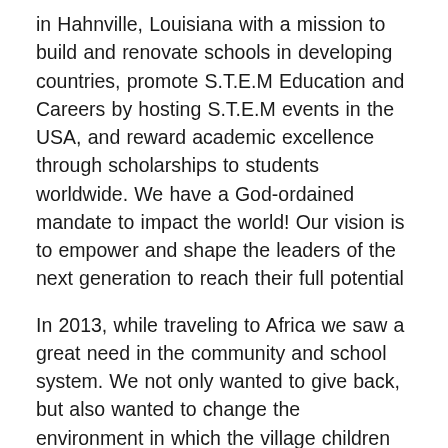in Hahnville, Louisiana with a mission to build and renovate schools in developing countries, promote S.T.E.M Education and Careers by hosting S.T.E.M events in the USA, and reward academic excellence through scholarships to students worldwide. We have a God-ordained mandate to impact the world! Our vision is to empower and shape the leaders of the next generation to reach their full potential
In 2013, while traveling to Africa we saw a great need in the community and school system. We not only wanted to give back, but also wanted to change the environment in which the village children are learning and make it conducive for academic success. Ghislain recalled his childhood days as a student in West Africa and his vision to be successful and travel to the U.S.A. He did just that, with a vision, hope, and faith in God that all things